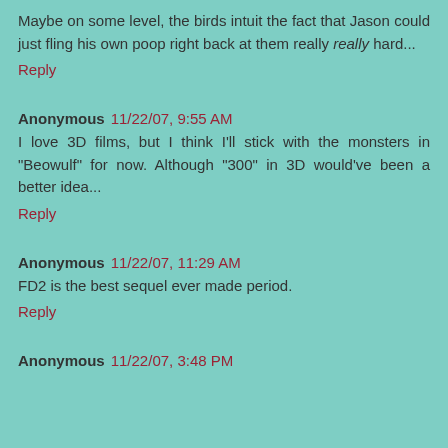Maybe on some level, the birds intuit the fact that Jason could just fling his own poop right back at them really really hard...
Reply
Anonymous 11/22/07, 9:55 AM
I love 3D films, but I think I'll stick with the monsters in "Beowulf" for now. Although "300" in 3D would've been a better idea...
Reply
Anonymous 11/22/07, 11:29 AM
FD2 is the best sequel ever made period.
Reply
Anonymous 11/22/07, 3:48 PM